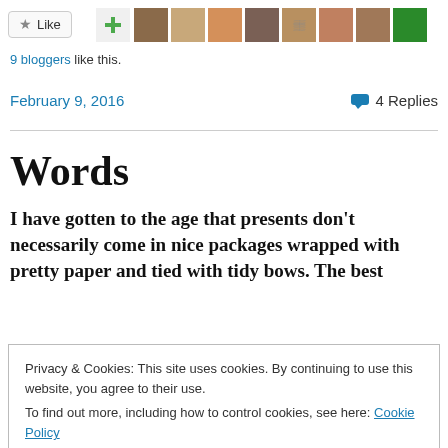[Figure (other): Like button with star icon, followed by a row of user avatar thumbnails including a green plus icon and various user profile photos and icons]
9 bloggers like this.
February 9, 2016
4 Replies
Words
I have gotten to the age that presents don’t necessarily come in nice packages wrapped with pretty paper and tied with tidy bows. The best
Privacy & Cookies: This site uses cookies. By continuing to use this website, you agree to their use.
To find out more, including how to control cookies, see here: Cookie Policy
Close and accept
One of the best Christmas gifts this year came from a